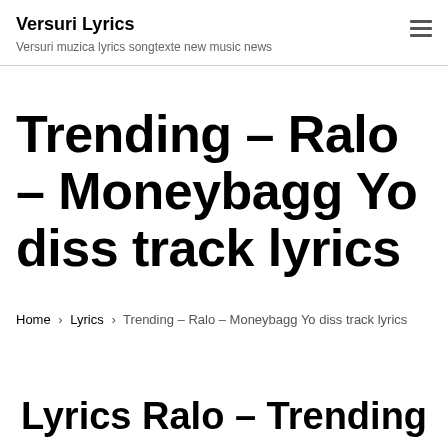Versuri Lyrics
Versuri muzica lyrics songtexte new music news
Trending – Ralo – Moneybagg Yo diss track lyrics
Home › Lyrics › Trending – Ralo – Moneybagg Yo diss track lyrics
Lyrics Ralo – Trending